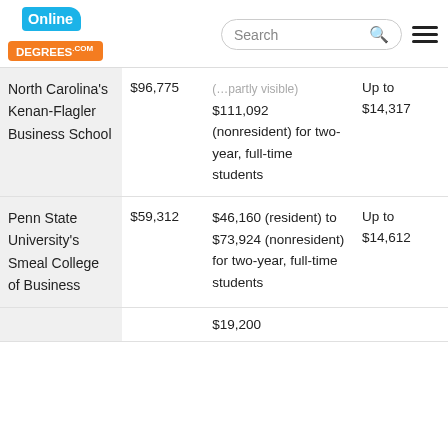OnlineDegrees.com
| School | Median Salary | Total Tuition | Financial Aid |
| --- | --- | --- | --- |
| North Carolina's Kenan-Flagler Business School | $96,775 | $111,092 (nonresident) for two-year, full-time students | Up to $14,317 |
| Penn State University's Smeal College of Business | $59,312 | $46,160 (resident) to $73,924 (nonresident) for two-year, full-time students | Up to $14,612 |
|  |  | $19,200 |  |